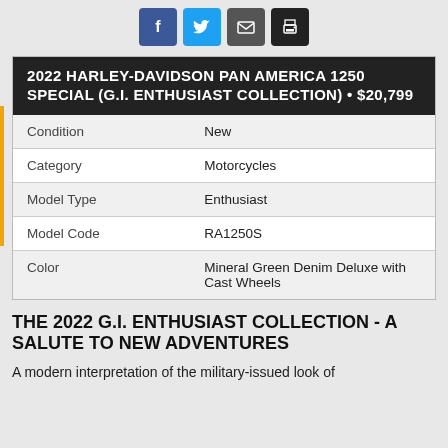[Figure (infographic): Social sharing icons: Facebook (blue), Twitter (light blue), Email (dark grey), Print (black)]
2022 HARLEY-DAVIDSON PAN AMERICA 1250 SPECIAL (G.I. ENTHUSIAST COLLECTION) • $20,799
| Condition | New |
| Category | Motorcycles |
| Model Type | Enthusiast |
| Model Code | RA1250S |
| Color | Mineral Green Denim Deluxe with Cast Wheels |
THE 2022 G.I. ENTHUSIAST COLLECTION - A SALUTE TO NEW ADVENTURES
A modern interpretation of the military-issued look of